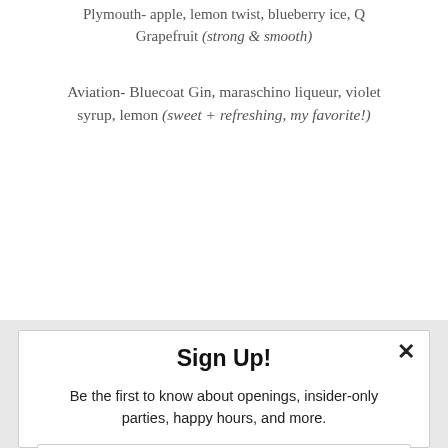Plymouth- apple, lemon twist, blueberry ice, Q Grapefruit (strong & smooth)
Aviation- Bluecoat Gin, maraschino liqueur, violet syrup, lemon (sweet + refreshing, my favorite!)
Sign Up!
Be the first to know about openings, insider-only parties, happy hours, and more.
Enter your email
Subscribe
powered by MailMunch